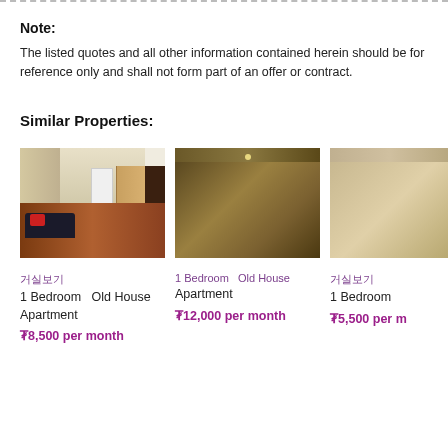Note: The listed quotes and all other information contained herein should be for reference only and shall not form part of an offer or contract.
Similar Properties:
[Figure (photo): Interior photo of a 1 Bedroom Old House Apartment showing living area with sofa, wardrobe, chandelier lighting, and hardwood floors]
거실보기
1 Bedroom  Old House Apartment
₮8,500 per month
[Figure (photo): Partial/cropped photo of 1 Bedroom Old House Apartment – mostly obscured]
1 Bedroom  Old House Apartment
₮12,000 per month
[Figure (photo): Partial/cropped photo of third similar property]
거실보기
1 Bedroom
₮5,500 per month